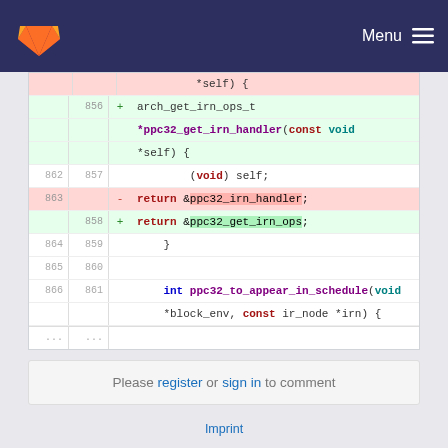GitLab Menu
[Figure (screenshot): Code diff view showing changes to ppc32 IRN handler functions in a C source file. Lines 856-866 shown with additions (green) and deletions (red). Added lines introduce arch_get_irn_ops_t *ppc32_get_irn_handler and return &ppc32_get_irn_ops; replacing return &ppc32_irn_handler;]
Please register or sign in to comment
Imprint